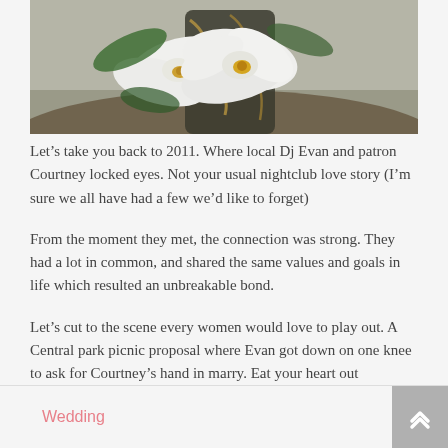[Figure (photo): Close-up photo of white orchid flowers on a dark (black/brown marbled) surface or vase, with green leaves visible in background]
Let’s take you back to 2011. Where local Dj Evan and patron Courtney locked eyes. Not your usual nightclub love story (I’m sure we all have had a few we’d like to forget)
From the moment they met, the connection was strong. They had a lot in common, and shared the same values and goals in life which resulted an unbreakable bond.
Let’s cut to the scene every women would love to play out. A Central park picnic proposal where Evan got down on one knee to ask for Courtney’s hand in marry. Eat your heart out
Wedding